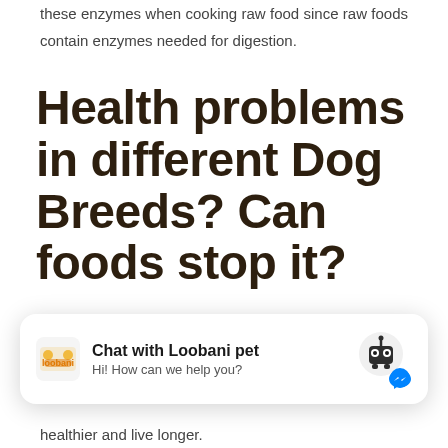these enzymes when cooking raw food since raw foods contain enzymes needed for digestion.
Health problems in different Dog Breeds? Can foods stop it?
If you are a pet lover and love to buy dog pets of different breeds, it's initial for you to know which dog has the least health problems? Moreover, are
[Figure (other): Chat widget overlay showing Loobani pet logo, chat title 'Chat with Loobani pet', subtitle 'Hi! How can we help you?', and a robot icon with Messenger button]
healthier and live longer.